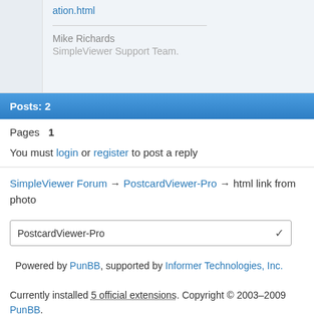ation.html
Mike Richards
SimpleViewer Support Team.
Posts: 2
Pages  1
You must login or register to post a reply
SimpleViewer Forum → PostcardViewer-Pro → html link from photo
PostcardViewer-Pro
Powered by PunBB, supported by Informer Technologies, Inc.
Currently installed 5 official extensions. Copyright © 2003–2009 PunBB.